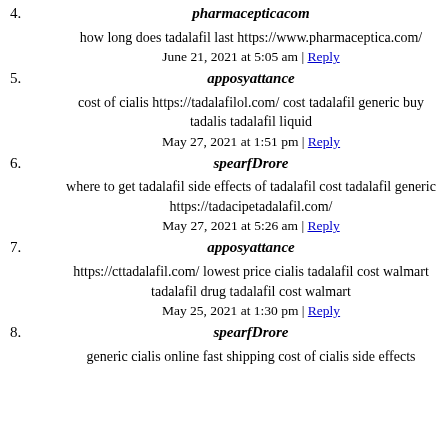4. pharmacepticacom
how long does tadalafil last https://www.pharmaceptica.com/
June 21, 2021 at 5:05 am | Reply
5. apposyattance
cost of cialis https://tadalafilol.com/ cost tadalafil generic buy tadalis tadalafil liquid
May 27, 2021 at 1:51 pm | Reply
6. spearfDrore
where to get tadalafil side effects of tadalafil cost tadalafil generic https://tadacipetadalafil.com/
May 27, 2021 at 5:26 am | Reply
7. apposyattance
https://cttadalafil.com/ lowest price cialis tadalafil cost walmart tadalafil drug tadalafil cost walmart
May 25, 2021 at 1:30 pm | Reply
8. spearfDrore
generic cialis online fast shipping cost of cialis side effects